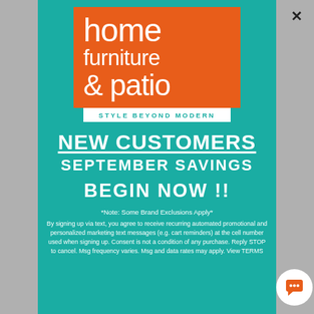[Figure (logo): Home Furniture & Patio logo — orange square with white lowercase text 'home furniture & patio' and white tagline 'STYLE BEYOND MODERN' on teal background]
NEW CUSTOMERS SEPTEMBER SAVINGS BEGIN NOW !!
*Note: Some Brand Exclusions Apply*
By signing up via text, you agree to receive recurring automated promotional and personalized marketing text messages (e.g. cart reminders) at the cell number used when signing up. Consent is not a condition of any purchase. Reply STOP to cancel. Msg frequency varies. Msg and data rates may apply. View TERMS